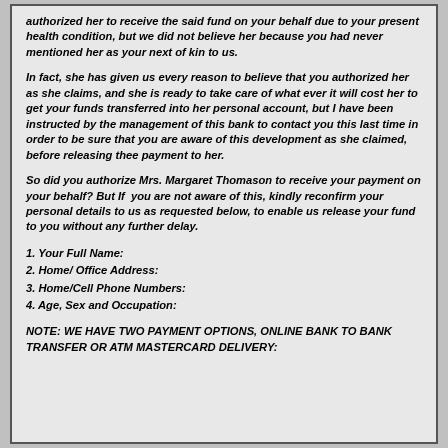authorized her to receive the said fund on your behalf due to your present health condition, but we did not believe her because you had never mentioned her as your next of kin to us.
In fact, she has given us every reason to believe that you authorized her as she claims, and she is ready to take care of what ever it will cost her to get your funds transferred into her personal account, but I have been instructed by the management of this bank to contact you this last time in order to be sure that you are aware of this development as she claimed, before releasing thee payment to her.
So did you authorize Mrs. Margaret Thomason to receive your payment on your behalf? But If  you are not aware of this, kindly reconfirm your personal details to us as requested below, to enable us release your fund to you without any further delay.
1. Your Full Name:
2. Home/ Office Address:
3. Home/Cell Phone Numbers:
4. Age, Sex and Occupation:
NOTE: WE HAVE TWO PAYMENT OPTIONS, ONLINE BANK TO BANK TRANSFER OR ATM MASTERCARD DELIVERY: